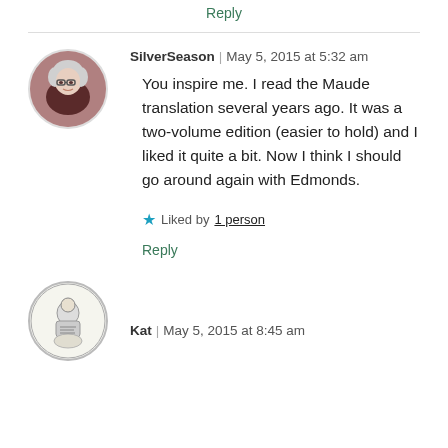Reply
SilverSeason | May 5, 2015 at 5:32 am
You inspire me. I read the Maude translation several years ago. It was a two-volume edition (easier to hold) and I liked it quite a bit. Now I think I should go around again with Edmonds.
Liked by 1 person
Reply
Kat | May 5, 2015 at 8:45 am